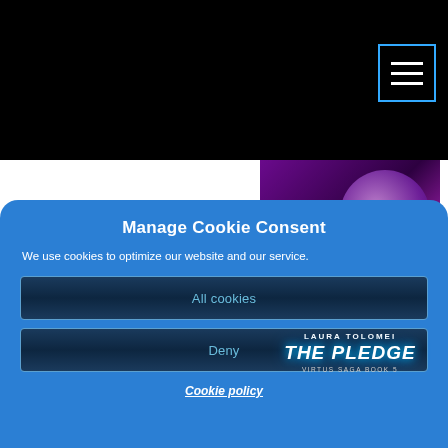[Figure (screenshot): Top black navigation bar with hamburger menu icon (three horizontal lines) inside a cyan-bordered box in the top right corner]
[Figure (illustration): Book cover for 'The Pledge' by Laura Tolomei, Virtus Saga Book 5, with purple background and planet imagery, alongside a purple text excerpt box]
Manage Cookie Consent
We use cookies to optimize our website and our service.
All cookies
Deny
Cookie policy